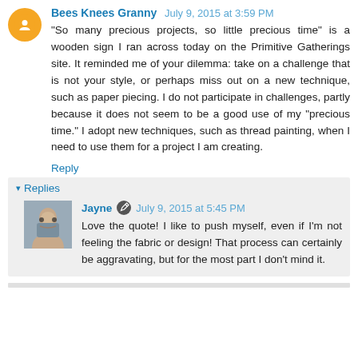Bees Knees Granny  July 9, 2015 at 3:59 PM
"So many precious projects, so little precious time" is a wooden sign I ran across today on the Primitive Gatherings site. It reminded me of your dilemma: take on a challenge that is not your style, or perhaps miss out on a new technique, such as paper piecing. I do not participate in challenges, partly because it does not seem to be a good use of my "precious time." I adopt new techniques, such as thread painting, when I need to use them for a project I am creating.
Reply
Replies
Jayne  July 9, 2015 at 5:45 PM
Love the quote! I like to push myself, even if I'm not feeling the fabric or design! That process can certainly be aggravating, but for the most part I don't mind it.